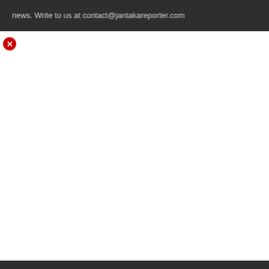news. Write to us at contact@jantakareporter.com
[Figure (other): Broken image icon (red circle with white X), indicating a failed image load]